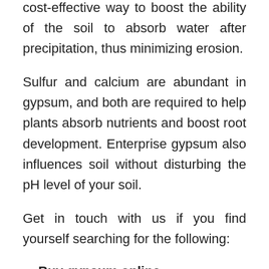cost-effective way to boost the ability of the soil to absorb water after precipitation, thus minimizing erosion.
Sulfur and calcium are abundant in gypsum, and both are required to help plants absorb nutrients and boost root development. Enterprise gypsum also influences soil without disturbing the pH level of your soil.
Get in touch with us if you find yourself searching for the following:
Buy gypsum online
Gypsum for farms
Gypsum company near me